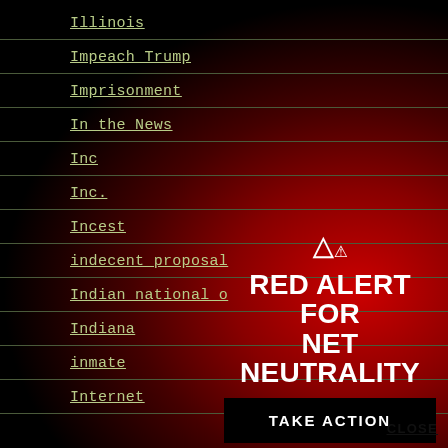Illinois
Impeach Trump
Imprisonment
In the News
Inc
Inc.
Incest
indecent proposal
Indian national o...
Indiana
inmate
Internet
[Figure (infographic): Red alert for net neutrality overlay with warning triangle icon, bold white text 'RED ALERT FOR NET NEUTRALITY', a black 'TAKE ACTION' button, and a 'CLOSE' link, displayed over a red radial gradient background on the right side of the page.]